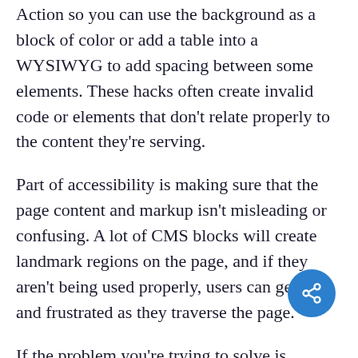Action so you can use the background as a block of color or add a table into a WYSIWYG to add spacing between some elements. These hacks often create invalid code or elements that don't relate properly to the content they're serving.
Part of accessibility is making sure that the page content and markup isn't misleading or confusing. A lot of CMS blocks will create landmark regions on the page, and if they aren't being used properly, users can get lost and frustrated as they traverse the page.
If the problem you're trying to solve is